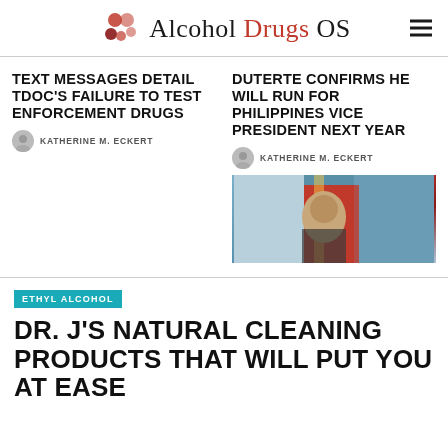Alcohol Drugs OS
TEXT MESSAGES DETAIL TDOC'S FAILURE TO TEST ENFORCEMENT DRUGS
KATHERINE M. ECKERT
DUTERTE CONFIRMS HE WILL RUN FOR PHILIPPINES VICE PRESIDENT NEXT YEAR
KATHERINE M. ECKERT
[Figure (photo): Photo of Duterte in front of Philippine flag]
ETHYL ALCOHOL
DR. J'S NATURAL CLEANING PRODUCTS THAT WILL PUT YOU AT EASE